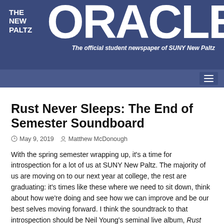[Figure (logo): The New Paltz Oracle newspaper banner logo on dark blue background with subtitle 'The official student newspaper of SUNY New Paltz']
Rust Never Sleeps: The End of Semester Soundboard
May 9, 2019   Matthew McDonough
With the spring semester wrapping up, it's a time for introspection for a lot of us at SUNY New Paltz. The majority of us are moving on to our next year at college, the rest are graduating: it's times like these where we need to sit down, think about how we're doing and see how we can improve and be our best selves moving forward. I think the soundtrack to that introspection should be Neil Young's seminal live album, Rust Never Sleeps, released in 1979. It packs a potent blend of country, folk and hard rock that simply can't go unnoticed.